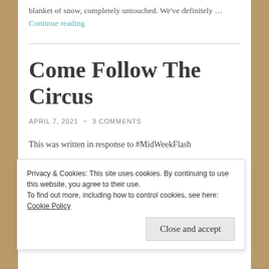blanket of snow, completely untouched.  We've definitely … Continue reading
Come Follow The Circus
APRIL 7, 2021  ~  3 COMMENTS
This was written in response to #MidWeekFlash
Privacy & Cookies: This site uses cookies. By continuing to use this website, you agree to their use. To find out more, including how to control cookies, see here: Cookie Policy
Close and accept